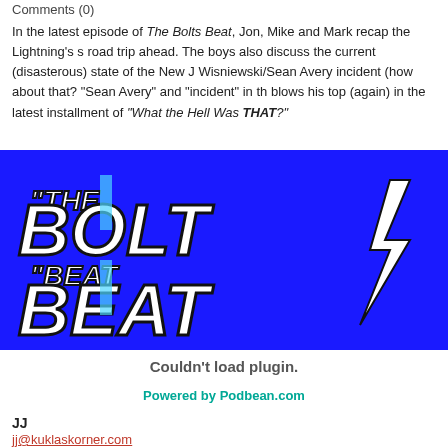Comments (0)
In the latest episode of The Bolts Beat, Jon, Mike and Mark recap the Lightning's s road trip ahead. The boys also discuss the current (disasterous) state of the New J Wisniewski/Sean Avery incident (how about that? "Sean Avery" and "incident" in th blows his top (again) in the latest installment of "What the Hell Was THAT?"
[Figure (illustration): The Bolts Beat podcast logo — blue background with large white bold text reading 'THE BOLTS BEAT' with a lightning bolt graphic]
Couldn't load plugin.
Powered by Podbean.com
JJ
jj@kuklaskorner.com